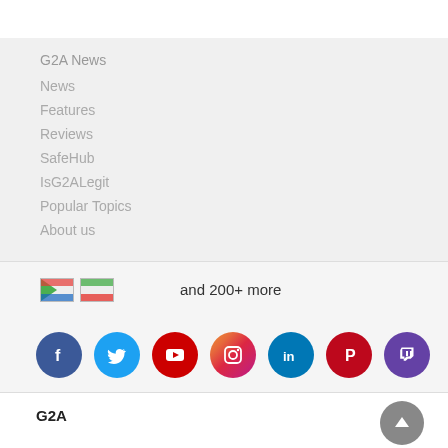G2A News
News
Features
Reviews
SafeHub
IsG2ALegit
Popular Topics
About us
and 200+ more
[Figure (infographic): Social media icons row: Facebook, Twitter, YouTube, Instagram, LinkedIn, Pinterest, Twitch]
G2A